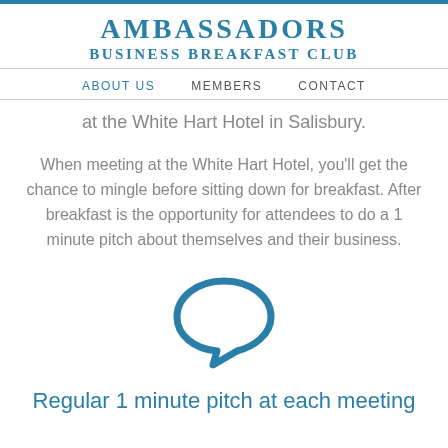AMBASSADORS BUSINESS BREAKFAST CLUB
ABOUT US   MEMBERS   CONTACT
at the White Hart Hotel in Salisbury.
When meeting at the White Hart Hotel, you'll get the chance to mingle before sitting down for breakfast. After breakfast is the opportunity for attendees to do a 1 minute pitch about themselves and their business.
[Figure (illustration): Speech bubble / chat icon in teal color]
Regular 1 minute pitch at each meeting